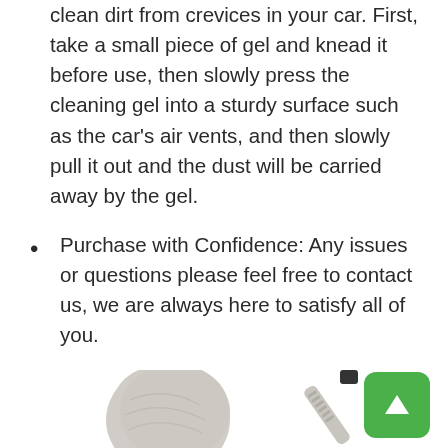clean dirt from crevices in your car. First, take a small piece of gel and knead it before use, then slowly press the cleaning gel into a sturdy surface such as the car's air vents, and then slowly pull it out and the dust will be carried away by the gel.
Purchase with Confidence: Any issues or questions please feel free to contact us, we are always here to satisfy all of you.
[Figure (photo): Two cleaning products on white background: a gray textured gel cleaning pad (triangular/blob shape) on the left, and a gray ribbed cleaning brush/tool with a black tip on the upper right. A green button with an upward arrow is in the bottom-right corner.]